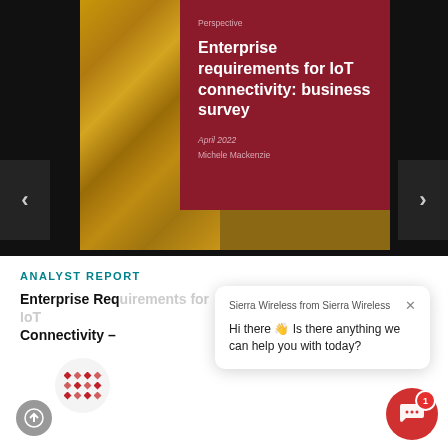[Figure (screenshot): Document cover page showing 'Enterprise requirements for IoT connectivity: business survey' by Michele Mackenzie, April 2022, on a dark red panel with textured golden/brown background. Navigation arrows on left and right.]
Perspective
Enterprise requirements for IoT connectivity: business survey
April 2022
Michele Mackenzie
ANALYST REPORT
Enterprise Requirements for IoT Connectivity –
Sierra Wireless from Sierra Wireless
Hi there 👋 Is there anything we can help you with today?